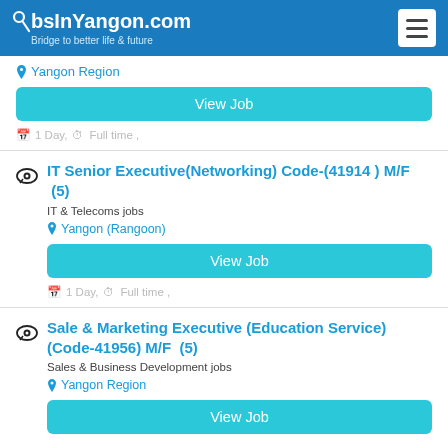JobsInYangon.com — Bridge to better life & future
Yangon Region
View Job
1 Day, Full time ,
IT Senior Executive(Networking) Code-(41914 ) M/F  (5)
IT & Telecoms jobs
Yangon (Rangoon)
View Job
1 Day, Full time ,
Sale & Marketing Executive (Education Service) (Code-41956) M/F  (5)
Sales & Business Development jobs
Yangon Region
View Job